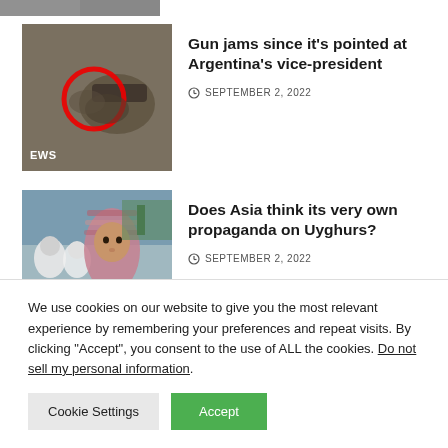[Figure (photo): Partial thumbnail strip at top of page, shows cropped image]
[Figure (photo): Thumbnail image of a gun being held with a red circle highlighting it, with 'EWS' label in bottom-left corner]
Gun jams since it's pointed at Argentina's vice-president
SEPTEMBER 2, 2022
[Figure (photo): Thumbnail image of a young girl wearing a pink hijab at what appears to be a public gathering]
Does Asia think its very own propaganda on Uyghurs?
SEPTEMBER 2, 2022
We use cookies on our website to give you the most relevant experience by remembering your preferences and repeat visits. By clicking “Accept”, you consent to the use of ALL the cookies. Do not sell my personal information.
Cookie Settings
Accept